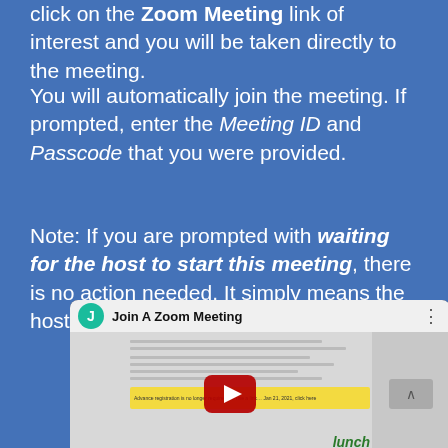click on the Zoom Meeting link of interest and you will be taken directly to the meeting.
You will automatically join the meeting. If prompted, enter the Meeting ID and Passcode that you were provided.
Note: If you are prompted with waiting for the host to start this meeting, there is no action needed. It simply means the host has not yet started the meeting.
[Figure (screenshot): YouTube video thumbnail showing 'Join A Zoom Meeting' with a red play button over a document showing meeting details including a yellow highlighted section and 'lunch' text at bottom right.]